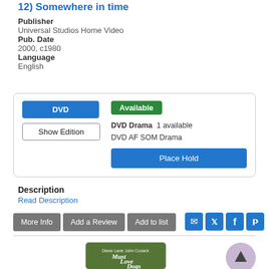12) Somewhere in time
Publisher
Universal Studios Home Video
Pub. Date
2000, c1980
Language
English
DVD | Available | DVD Drama 1 available | DVD AF SOM Drama | Place Hold
Description
Read Description
More Info | Add a Review | Add to list
[Figure (screenshot): Social media icons: email, twitter, facebook, pinterest]
[Figure (photo): Must Love Dogs movie cover showing Diane Lane and John Cusack]
[Figure (other): Scroll to top button (arrow up in purple circle)]